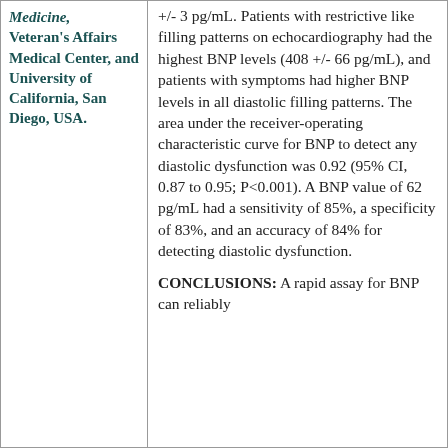Medicine, Veteran's Affairs Medical Center, and University of California, San Diego, USA.
+/- 3 pg/mL. Patients with restrictive like filling patterns on echocardiography had the highest BNP levels (408 +/- 66 pg/mL), and patients with symptoms had higher BNP levels in all diastolic filling patterns. The area under the receiver-operating characteristic curve for BNP to detect any diastolic dysfunction was 0.92 (95% CI, 0.87 to 0.95; P<0.001). A BNP value of 62 pg/mL had a sensitivity of 85%, a specificity of 83%, and an accuracy of 84% for detecting diastolic dysfunction.
CONCLUSIONS: A rapid assay for BNP can reliably detect diastolic dysfunction.